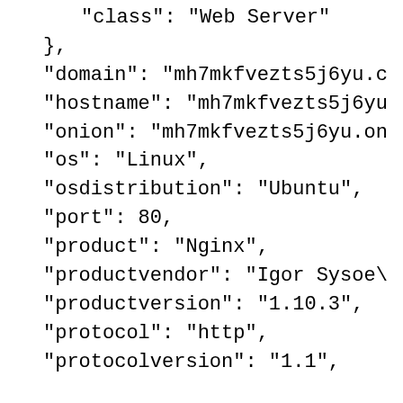"class": "Web Server",
},
"domain": "mh7mkfvezts5j6yu.c
"hostname": "mh7mkfvezts5j6yu
"onion": "mh7mkfvezts5j6yu.on
"os": "Linux",
"osdistribution": "Ubuntu",
"port": 80,
"product": "Nginx",
"productvendor": "Igor Sysoe\
"productversion": "1.10.3",
"protocol": "http",
"protocolversion": "1.1",